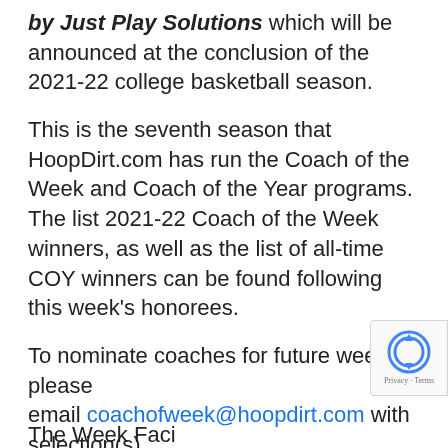by Just Play Solutions which will be announced at the conclusion of the 2021-22 college basketball season.
This is the seventh season that HoopDirt.com has run the Coach of the Week and Coach of the Year programs. The list 2021-22 Coach of the Week winners, as well as the list of all-time COY winners can be found following this week's honorees.
To nominate coaches for future weeks, please email coachofweek@hoopdirt.com with selection(s).
The Week Faci...